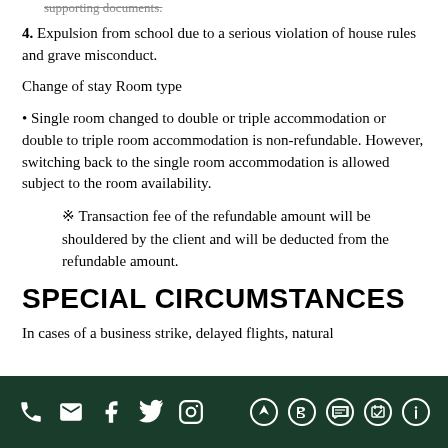supporting documents.
4. Expulsion from school due to a serious violation of house rules and grave misconduct.
Change of stay Room type
• Single room changed to double or triple accommodation or double to triple room accommodation is non-refundable. However, switching back to the single room accommodation is allowed subject to the room availability.
※ Transaction fee of the refundable amount will be shouldered by the client and will be deducted from the refundable amount.
SPECIAL CIRCUMSTANCES
In cases of a business strike, delayed flights, natural
social media and contact icons